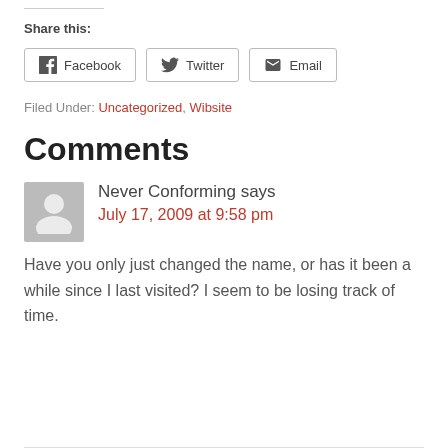Share this:
Facebook  Twitter  Email
Filed Under: Uncategorized, Wibsite
Comments
Never Conforming says
July 17, 2009 at 9:58 pm
Have you only just changed the name, or has it been a while since I last visited? I seem to be losing track of time.